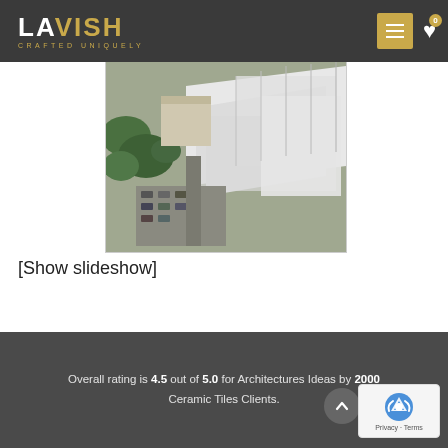LAVISH CRAFTED UNIQUELY
[Figure (photo): Aerial view of large industrial or warehouse buildings with white rooftops, parking lot with cars, and surrounding trees.]
[Show slideshow]
Overall rating is 4.5 out of 5.0 for Architectures Ideas by 2000 Ceramic Tiles Clients.